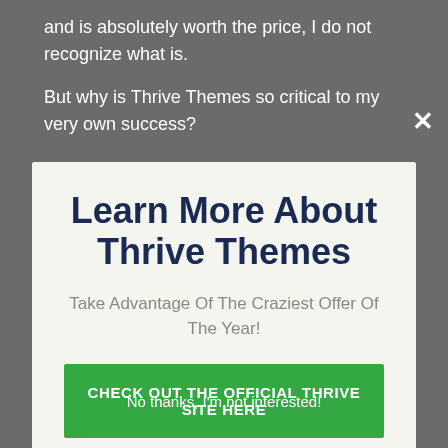and is absolutely worth the price, I do not recognize what is.
But why is Thrive Themes so critical to my very own success?
[Figure (screenshot): Modal popup with title 'Learn More About Thrive Themes', subtitle 'Take Advantage Of The Craziest Offer Of The Year!', a green CTA button 'CHECK OUT THE OFFICIAL THRIVE SITE HERE', and a close X button in the top right corner. Background shows dimmed webpage text.]
This is why I'm such a huge follower of the Thrive Themes collection of items. Without a hint, I'm confident in stating that my online business wouldn't be nearly as successful as it is today.
No thanks, I'm not interested!